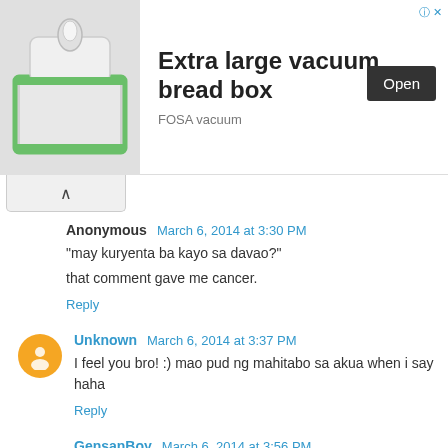[Figure (other): Advertisement banner for 'Extra large vacuum bread box' by FOSA vacuum, with product image on left and Open button on right]
Anonymous   March 6, 2014 at 3:30 PM
"may kuryenta ba kayo sa davao?"
that comment gave me cancer.
Reply
Unknown   March 6, 2014 at 3:37 PM
I feel you bro! :) mao pud ng mahitabo sa akua when i say haha
Reply
GensanBoy   March 6, 2014 at 3:56 PM
105 comments.. Wow.. This is so true.. Instead of getting n